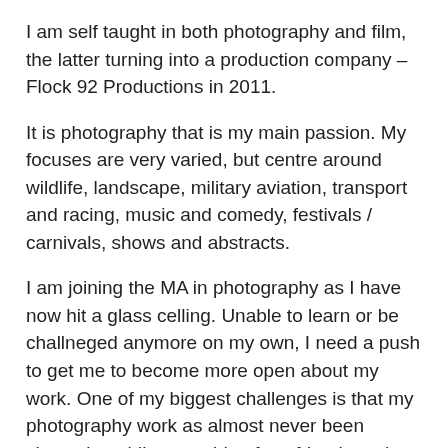I am self taught in both photography and film, the latter turning into a production company – Flock 92 Productions in 2011.
It is photography that is my main passion. My focuses are very varied, but centre around wildlife, landscape, military aviation, transport and racing, music and comedy, festivals / carnivals, shows and abstracts.
I am joining the MA in photography as I have now hit a glass celling. Unable to learn or be challneged anymore on my own, I need a push to get me to become more open about my work. One of my biggest challenges is that my photography work as almost never been shown in public – outside of my friends and family on social media. The concept of producing works to show and be commented on is for me a huge challenge, but